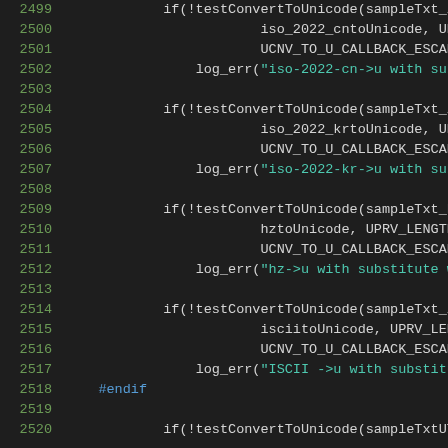[Figure (screenshot): Source code viewer showing C/C++ code lines 2499-2520 with line numbers in green on dark background. Code includes testConvertToUnicode function calls and log_err string calls shown in teal/green, with a #endif preprocessor directive.]